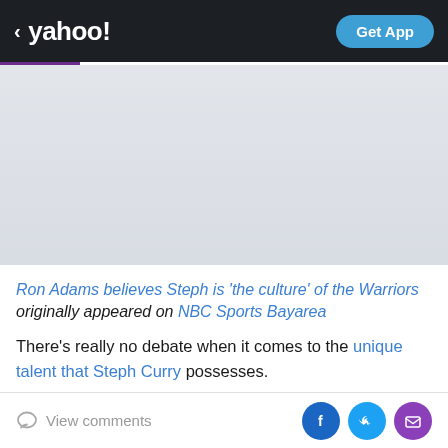< yahoo!  Get App
[Figure (photo): Light gray image placeholder area beneath the Yahoo header]
Ron Adams believes Steph is 'the culture' of the Warriors originally appeared on NBC Sports Bayarea
There's really no debate when it comes to the unique talent that Steph Curry possesses.
His elite, one-of-a-kind sharpshooting changed the game
View comments  [Facebook] [Twitter] [Email]